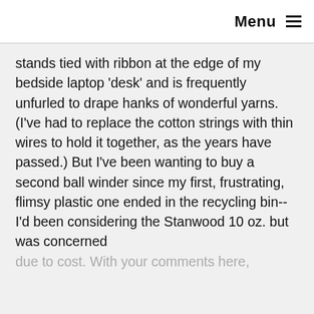Menu ≡
stands tied with ribbon at the edge of my bedside laptop 'desk' and is frequently unfurled to drape hanks of wonderful yarns. (I've had to replace the cotton strings with thin wires to hold it together, as the years have passed.) But I've been wanting to buy a second ball winder since my first, frustrating, flimsy plastic one ended in the recycling bin--I'd been considering the Stanwood 10 oz. but was concerned
due to cost. With your comments here,